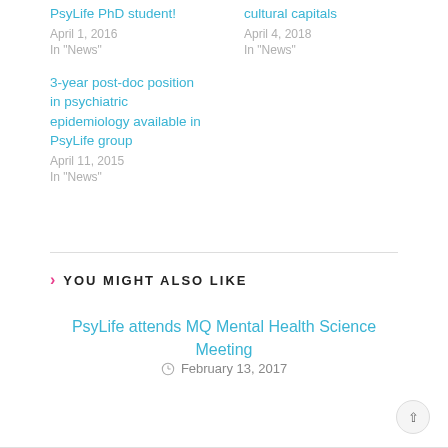PsyLife PhD student!
April 1, 2016
In "News"
cultural capitals
April 4, 2018
In "News"
3-year post-doc position in psychiatric epidemiology available in PsyLife group
April 11, 2015
In "News"
YOU MIGHT ALSO LIKE
PsyLife attends MQ Mental Health Science Meeting
February 13, 2017